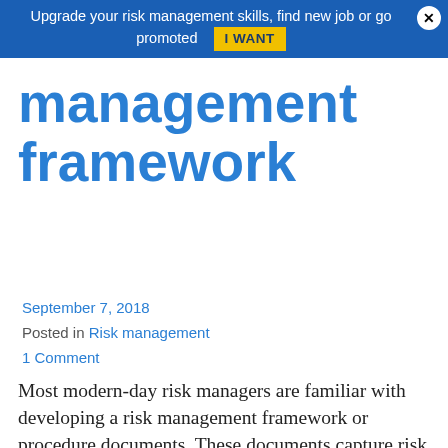Upgrade your risk management skills, find new job or go promoted  I WANT
management framework
September 7, 2018
Posted in Risk management
1 Comment
Most modern-day risk managers are familiar with developing a risk management framework or procedure documents. These documents capture risk management roles and responsibilities, outline risk management processes as well as other aspects of risk management. Risk management